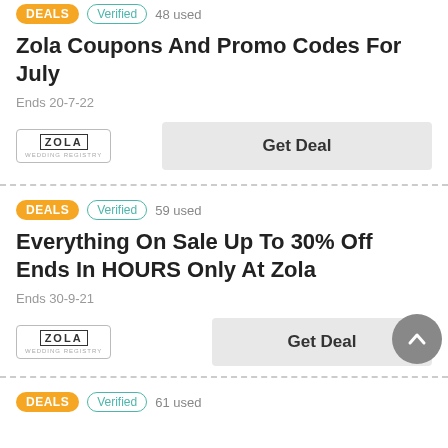DEALS | Verified | 48 used
Zola Coupons And Promo Codes For July
Ends 20-7-22
[Figure (logo): Zola brand logo in a bordered box]
Get Deal
DEALS | Verified | 59 used
Everything On Sale Up To 30% Off Ends In HOURS Only At Zola
Ends 30-9-21
[Figure (logo): Zola brand logo in a bordered box]
Get Deal
DEALS | Verified | 61 used